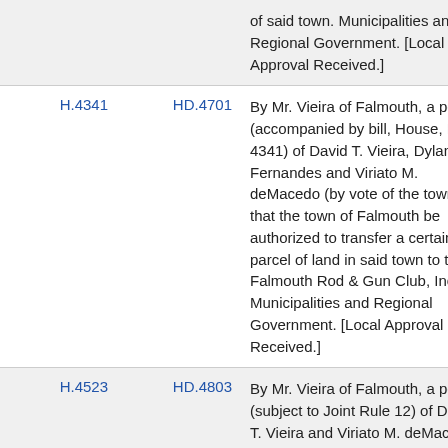| Bill | HD | Description |
| --- | --- | --- |
|  |  | of said town. Municipalities and Regional Government. [Local Approval Received.] |
| H.4341 | HD.4701 | By Mr. Vieira of Falmouth, a petition (accompanied by bill, House, No. 4341) of David T. Vieira, Dylan Fernandes and Viriato M. deMacedo (by vote of the town) that the town of Falmouth be authorized to transfer a certain parcel of land in said town to the Falmouth Rod & Gun Club, Inc. Municipalities and Regional Government. [Local Approval Received.] |
| H.4523 | HD.4803 | By Mr. Vieira of Falmouth, a petition (subject to Joint Rule 12) of David T. Vieira and Viriato M. deMacedo relative to the terms of water commissioners in the Buzzards Bay Water District. Municipalities and Regional Government. |